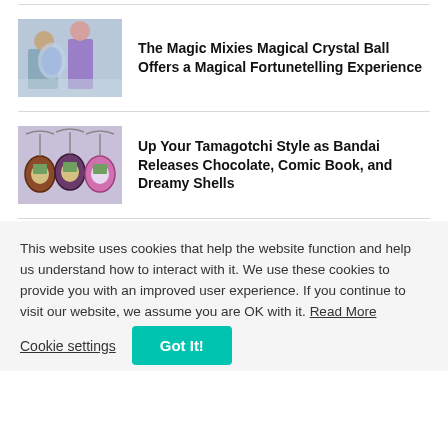[Figure (photo): Two children playing with a glowing crystal ball toy in a living room]
The Magic Mixies Magical Crystal Ball Offers a Magical Fortunetelling Experience
[Figure (photo): Three Tamagotchi pendants with different shell designs: chocolate, comic book, and dreamy styles]
Up Your Tamagotchi Style as Bandai Releases Chocolate, Comic Book, and Dreamy Shells
This website uses cookies that help the website function and help us understand how to interact with it. We use these cookies to provide you with an improved user experience. If you continue to visit our website, we assume you are OK with it. Read More
Cookie settings
Got It!